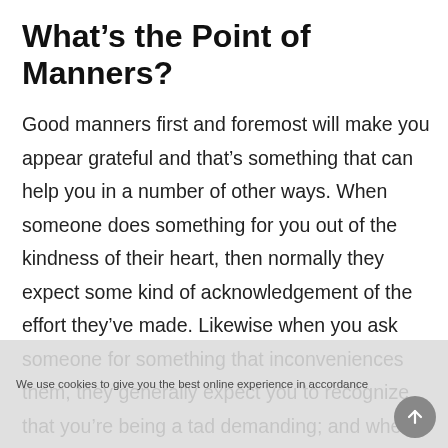What's the Point of Manners?
Good manners first and foremost will make you appear grateful and that's something that can help you in a number of other ways. When someone does something for you out of the kindness of their heart, then normally they expect some kind of acknowledgement of the effort they've made. Likewise when you ask someone for something that inconveniences them, they generally expect you to recognize that you're being a tad demanding; and when you inconvenience someone accidentally this too needs to be addressed.
We use cookies to give you the best online experience in accordance